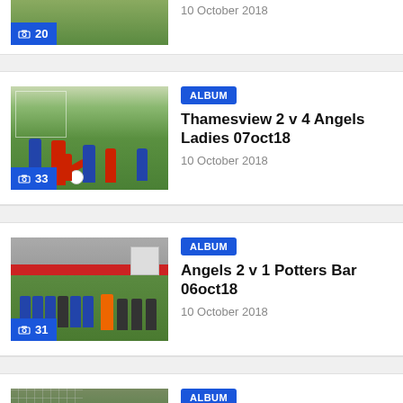[Figure (photo): Partial football/soccer match photo with blue photo count badge showing 20]
10 October 2018
[Figure (photo): Football match photo showing players including one in red kit, with blue badge showing 33]
ALBUM
Thamesview 2 v 4 Angels Ladies 07oct18
10 October 2018
[Figure (photo): Football match photo showing players on pitch with stadium/stand visible, blue badge showing 31]
ALBUM
Angels 2 v 1 Potters Bar 06oct18
10 October 2018
[Figure (photo): Football match photo showing players near goal, partially visible]
ALBUM
Long Lane 3 v 3 Angels Ladies 30oct18